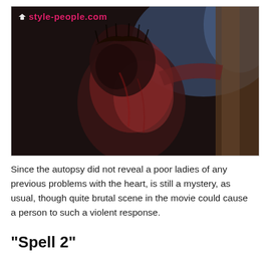[Figure (photo): A dramatic movie still showing a figure wearing a crown of thorns, covered in blood, with a watermark 'style-people.com' in the upper left corner.]
Since the autopsy did not reveal a poor ladies of any previous problems with the heart, is still a mystery, as usual, though quite brutal scene in the movie could cause a person to such a violent response.
"Spell 2"